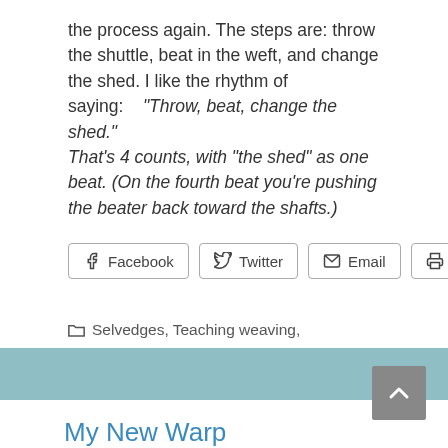the process again. The steps are: throw the shuttle, beat in the weft, and change the shed. I like the rhythm of saying: "Throw, beat, change the shed." That's 4 counts, with "the shed" as one beat. (On the fourth beat you're pushing the beater back toward the shafts.)
[Figure (other): Share buttons for Facebook, Twitter, Email, and Print]
Selvedges, Teaching weaving, Techniques
Leave a comment
My New Warp